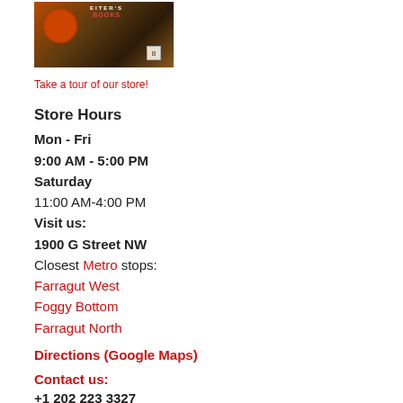[Figure (photo): Storefront photo of a bookstore with signage reading EITER'S BOOKS, orange/brown tones, a circular logo on the left]
Take a tour of our store!
Store Hours
Mon - Fri
9:00 AM - 5:00 PM
Saturday
11:00 AM-4:00 PM
Visit us:
1900 G Street NW
Closest Metro stops:
Farragut West
Foggy Bottom
Farragut North
Directions (Google Maps)
Contact us:
+1 202 223 3327
Alt# 202-993-5080
books@reiters.com